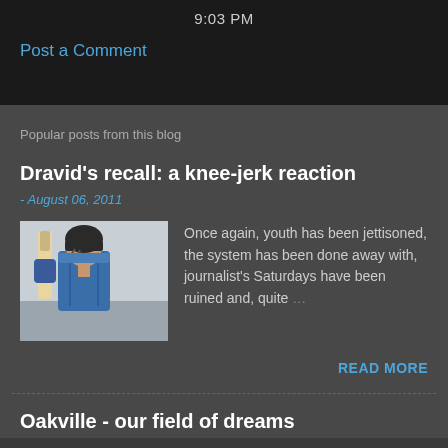9:03 PM
Post a Comment
Popular posts from this blog
Dravid's recall: a knee-jerk reaction
- August 06, 2011
[Figure (photo): Cricket player in blue India jersey holding a bat, wearing helmet and gloves]
Once again, youth has been jettisoned, the system has been done away with, journalist's Saturdays have been ruined and, quite …
READ MORE
Oakville - our field of dreams